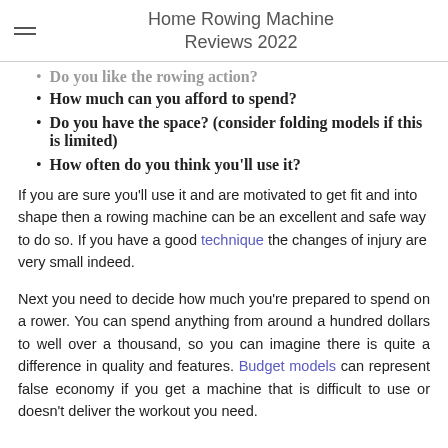Home Rowing Machine Reviews 2022
Do you like the rowing action?
How much can you afford to spend?
Do you have the space? (consider folding models if this is limited)
How often do you think you'll use it?
If you are sure you'll use it and are motivated to get fit and into shape then a rowing machine can be an excellent and safe way to do so. If you have a good technique the changes of injury are very small indeed.
Next you need to decide how much you're prepared to spend on a rower. You can spend anything from around a hundred dollars to well over a thousand, so you can imagine there is quite a difference in quality and features. Budget models can represent false economy if you get a machine that is difficult to use or doesn't deliver the workout you need.